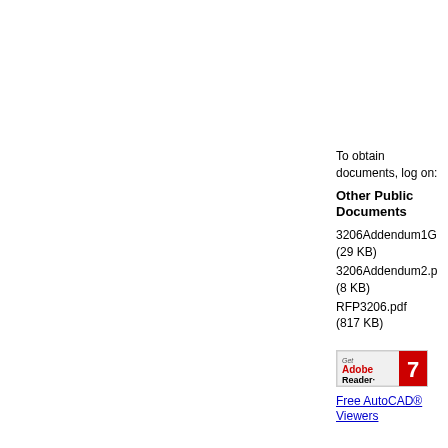To obtain documents, log on:
Other Public Documents
3206Addendum1G (29 KB)
3206Addendum2.p (8 KB)
RFP3206.pdf (817 KB)
[Figure (logo): Get Adobe Reader badge with red swoosh logo]
Free AutoCAD® Viewers